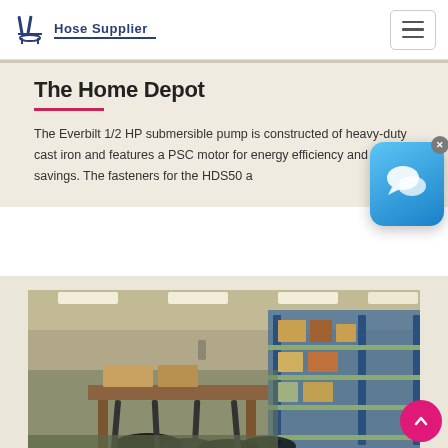Hose Supplier
The Home Depot
The Everbilt 1/2 HP submersible pump is constructed of heavy-duty cast iron and features a PSC motor for energy efficiency and savings. The fasteners for the HDS50 a...
[Figure (photo): Warehouse interior with shelving, industrial hoses hanging in foreground, and stacked merchandise on blue metal shelving racks in background under bright ceiling lights.]